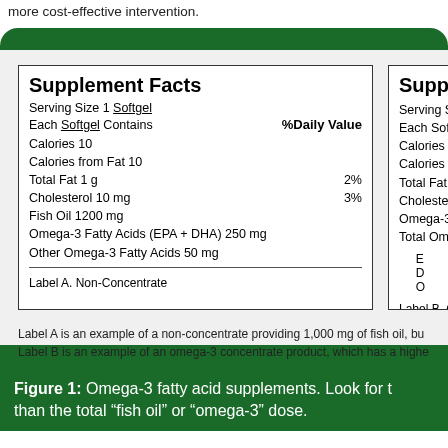more cost-effective intervention.
| Supplement Facts |  |
| --- | --- |
| Serving Size 1 Softgel |  |
| Each Softgel Contains | %Daily Value |
| Calories 10 |  |
| Calories from Fat 10 |  |
| Total Fat 1 g | 2% |
| Cholesterol 10 mg | 3% |
| Fish Oil 1200 mg |  |
| Omega-3 Fatty Acids (EPA + DHA) 250 mg |  |
| Other Omega-3 Fatty Acids 50 mg |  |
| Label A. Non-Concentrate |  |
| Suppl... |  |
| --- | --- |
| Serving Si... |  |
| Each Softg... |  |
| Calories 1... |  |
| Calories fr... |  |
| Total Fat 1... |  |
| Cholestero... |  |
| Omega-3 O... |  |
| Total Ome... |  |
| Label B. C... |  |
Label A is an example of a non-concentrate providing 1,000 mg of fish oil, bu... Label B is an example of an omega-3 concentrate product, which has a highe...
Figure 1: Omega-3 fatty acid supplements. Look for t... than the total “fish oil” or “omega-3” dose.